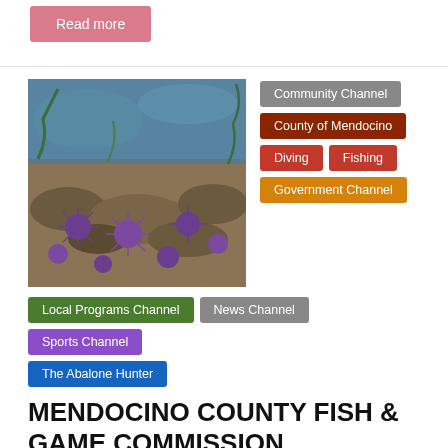Read more
[Figure (photo): Underwater photo showing purple sea urchins and abalone on a rocky ocean floor]
Community Channel
County of Mendocino
Diving
Fishing
Government Channel
Local Programs Channel
News Channel
Sports Channel
The Abalone Hunter
MENDOCINO COUNTY FISH & GAME COMMISSION
June 14, 2016   Terrence Vaughn   4295 Views
Comments   abalone, Abalone Fishery Management Plan, Joshua Russo, kelp, MENDOCINO COUNTY FISH & GAME COMMISSION, Tallulah Winquist, urchin